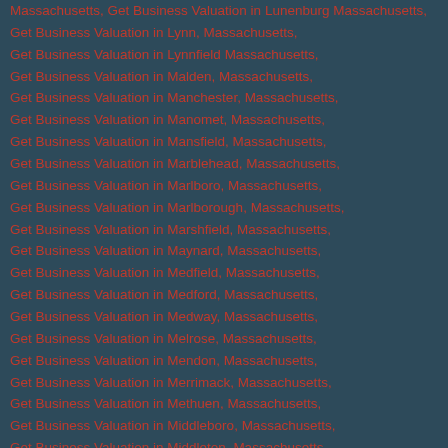Massachusetts, Get Business Valuation in Lunenburg Massachusetts,
Get Business Valuation in Lynn, Massachusetts,
Get Business Valuation in Lynnfield Massachusetts,
Get Business Valuation in Malden, Massachusetts,
Get Business Valuation in Manchester, Massachusetts,
Get Business Valuation in Manomet, Massachusetts,
Get Business Valuation in Mansfield, Massachusetts,
Get Business Valuation in Marblehead, Massachusetts,
Get Business Valuation in Marlboro, Massachusetts,
Get Business Valuation in Marlborough, Massachusetts,
Get Business Valuation in Marshfield, Massachusetts,
Get Business Valuation in Maynard, Massachusetts,
Get Business Valuation in Medfield, Massachusetts,
Get Business Valuation in Medford, Massachusetts,
Get Business Valuation in Medway, Massachusetts,
Get Business Valuation in Melrose, Massachusetts,
Get Business Valuation in Mendon, Massachusetts,
Get Business Valuation in Merrimack, Massachusetts,
Get Business Valuation in Methuen, Massachusetts,
Get Business Valuation in Middleboro, Massachusetts,
Get Business Valuation in Middleton, Massachusetts,
Get Business Valuation in Milford, Massachusetts,